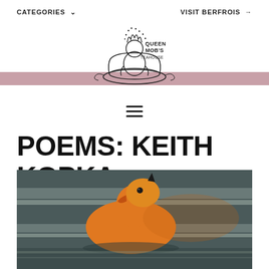CATEGORIES ∨    VISIT BERFROIS →
[Figure (logo): Queen Mob's Teahouse logo — illustrated figure sitting in a teacup with 'QUEEN MOB'S TEAHOUSE' text]
POEMS: KEITH KOPKA
[Figure (photo): Close-up photo of an orange rubber duck toy lying on its side in water, viewed from the front with a dark beak visible]